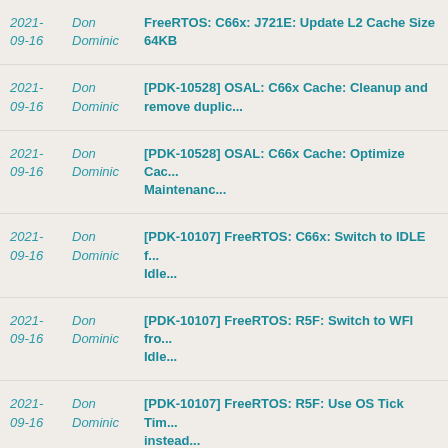2021-09-16 | Don Dominic | FreeRTOS: C66x: J721E: Update L2 Cache Size 64KB
2021-09-16 | Don Dominic | [PDK-10528] OSAL: C66x Cache: Cleanup and remove duplic...
2021-09-16 | Don Dominic | [PDK-10528] OSAL: C66x Cache: Optimize Cac... Maintenanc...
2021-09-16 | Don Dominic | [PDK-10107] FreeRTOS: C66x: Switch to IDLE f... Idle...
2021-09-16 | Don Dominic | [PDK-10107] FreeRTOS: R5F: Switch to WFI fro... Idle...
2021-09-16 | Don Dominic | [PDK-10107] FreeRTOS: R5F: Use OS Tick Tim... instead...